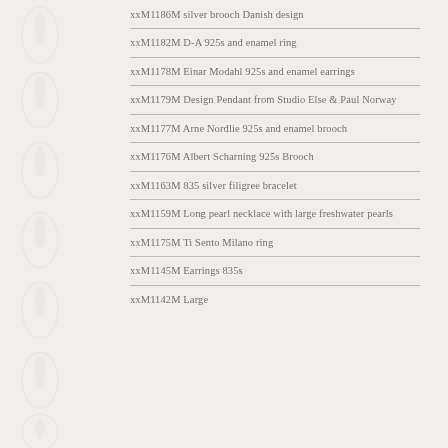xxM1186M silver brooch Danish design
xxM1182M D-A 925s and enamel ring
xxM1178M Einar Modahl 925s and enamel earrings
xxM1179M Design Pendant from Studio Else & Paul Norway
xxM1177M Arne Nordlie 925s and enamel brooch
xxM1176M Albert Scharning 925s Brooch
xxM1163M 835 silver filigree bracelet
xxM1159M Long pearl necklace with large freshwater pearls
xxM1175M Ti Sento Milano ring
xxM1145M Earrings 835s
xxM1142M Large